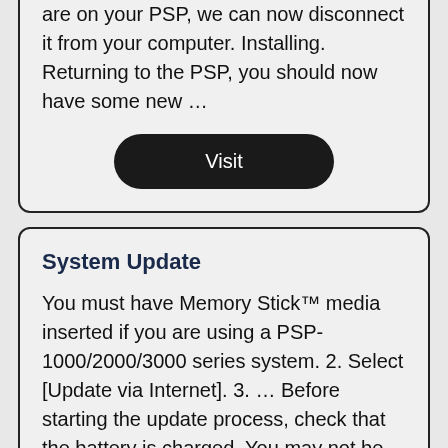are on your PSP, we can now disconnect it from your computer. Installing. Returning to the PSP, you should now have some new …
Visit
System Update
You must have Memory Stick™ media inserted if you are using a PSP-1000/2000/3000 series system. 2. Select [Update via Internet]. 3. … Before starting the update process, check that the battery is charged. You may not be able to start an update if the